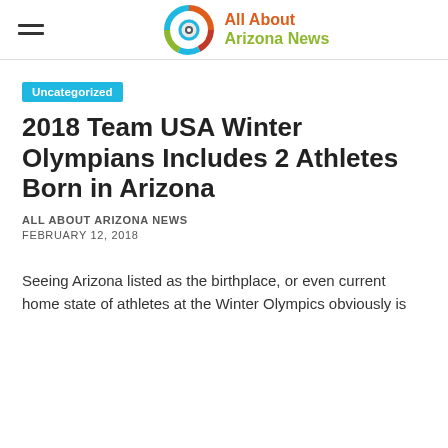All About Arizona News
Uncategorized
2018 Team USA Winter Olympians Includes 2 Athletes Born in Arizona
ALL ABOUT ARIZONA NEWS
FEBRUARY 12, 2018
Seeing Arizona listed as the birthplace, or even current home state of athletes at the Winter Olympics obviously is